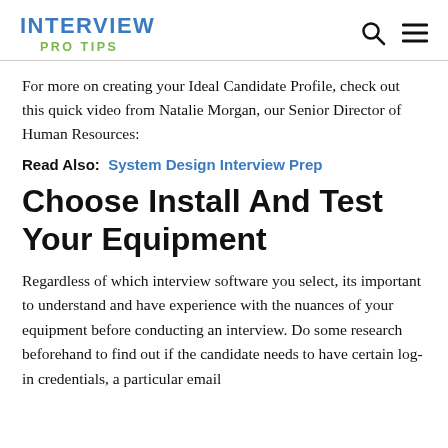INTERVIEW PRO TIPS
For more on creating your Ideal Candidate Profile, check out this quick video from Natalie Morgan, our Senior Director of Human Resources:
Read Also:  System Design Interview Prep
Choose Install And Test Your Equipment
Regardless of which interview software you select, its important to understand and have experience with the nuances of your equipment before conducting an interview. Do some research beforehand to find out if the candidate needs to have certain log-in credentials, a particular email